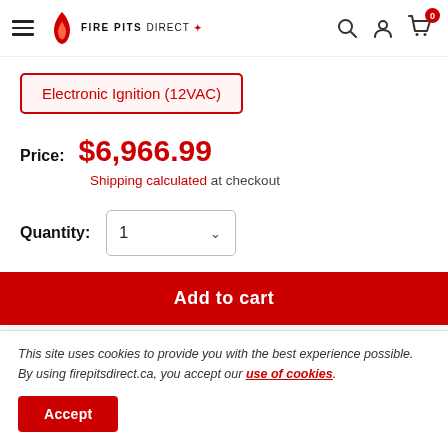Fire Pits Direct — navigation header with hamburger menu, logo, search, account, and cart icons
Electronic Ignition (12VAC)
Price: $6,966.99
Shipping calculated at checkout
Quantity: 1
Add to cart
This site uses cookies to provide you with the best experience possible. By using firepitsdirect.ca, you accept our use of cookies.
Accept